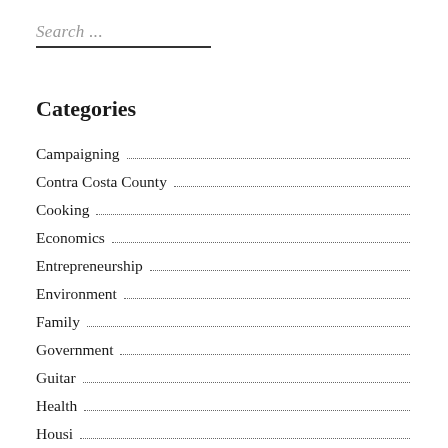Search ...
Categories
Campaigning
Contra Costa County
Cooking
Economics
Entrepreneurship
Environment
Family
Government
Guitar
Health
Housing